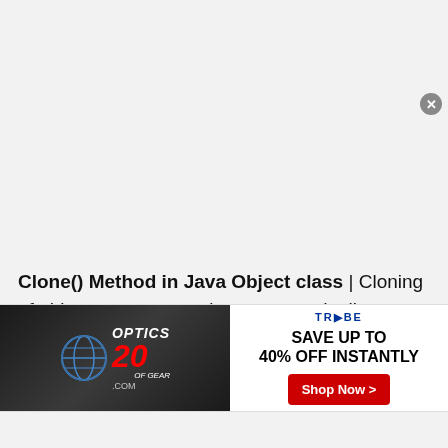Clone() Method in Java Object class | Cloning of objects means creating an exact duplicate copy with the current object state. In Java, to perform a cloning clone() method is given in java.lang.Object class. The
[Figure (other): Advertisement banner for OpticsPlanet 20 Years of Gear with Trybe Gear offering Save Up To 40% Off Instantly with Shop Now button]